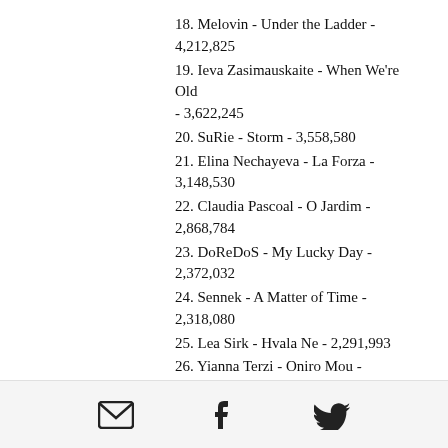18. Melovin - Under the Ladder - 4,212,825
19. Ieva Zasimauskaite - When We're Old - 3,622,245
20. SuRie - Storm - 3,558,580
21. Elina Nechayeva - La Forza - 3,148,530
22. Claudia Pascoal - O Jardim - 2,868,784
23. DoReDoS - My Lucky Day - 2,372,032
24. Sennek - A Matter of Time - 2,318,080
25. Lea Sirk - Hvala Ne - 2,291,993
26. Yianna Terzi - Oniro Mou - 2,286,684
27. AWS - Viszlat nyar - 1,790,909
28. ZiBBZ - Stones - 1,609,698
email | facebook | twitter icons